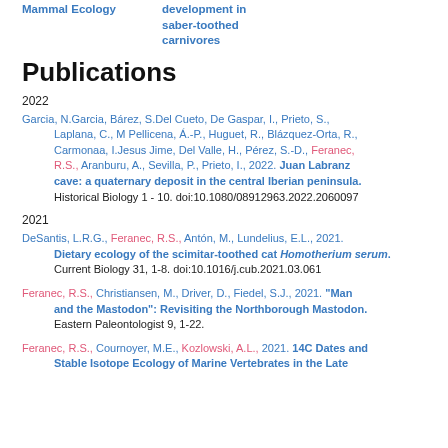Mammal Ecology    development in saber-toothed carnivores
Publications
2022
Garcia, N.Garcia, Bárez, S.Del Cueto, De Gaspar, I., Prieto, S., Laplana, C., M Pellicena, Á.-P., Huguet, R., Blázquez-Orta, R., Carmonaa, I.Jesus Jime, Del Valle, H., Pérez, S.-D., Feranec, R.S., Aranburu, A., Sevilla, P., Prieto, I., 2022. Juan Labranz cave: a quaternary deposit in the central Iberian peninsula. Historical Biology 1 - 10. doi:10.1080/08912963.2022.2060097
2021
DeSantis, L.R.G., Feranec, R.S., Antón, M., Lundelius, E.L., 2021. Dietary ecology of the scimitar-toothed cat Homotherium serum. Current Biology 31, 1-8. doi:10.1016/j.cub.2021.03.061
Feranec, R.S., Christiansen, M., Driver, D., Fiedel, S.J., 2021. "Man and the Mastodon": Revisiting the Northborough Mastodon. Eastern Paleontologist 9, 1-22.
Feranec, R.S., Cournoyer, M.E., Kozlowski, A.L., 2021. 14C Dates and Stable Isotope Ecology of Marine Vertebrates in the Late